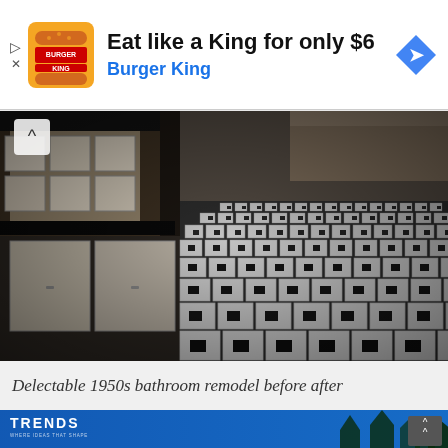[Figure (screenshot): Burger King advertisement banner showing logo, text 'Eat like a King for only $6' and 'Burger King', with a blue navigation arrow icon on the right]
[Figure (photo): Dark photograph of a 1950s bathroom interior showing white and black checkered tile floor, white cabinet/vanity, and tiled walls]
Delectable 1950s bathroom remodel before after
[Figure (screenshot): Bottom section showing Trends magazine logo in white on blue background with trees silhouette and a scroll-up button]